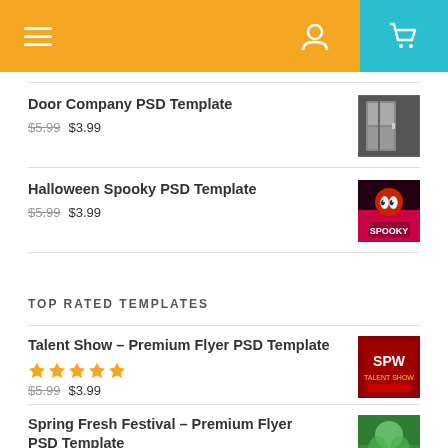Navigation header with hamburger menu, user icon, and cart icon
Door Company PSD Template — $5.99 $3.99
Halloween Spooky PSD Template — $5.99 $3.99
TOP RATED TEMPLATES
Talent Show – Premium Flyer PSD Template — ★★★★★ — $5.99 $3.99
Spring Fresh Festival – Premium Flyer PSD Template